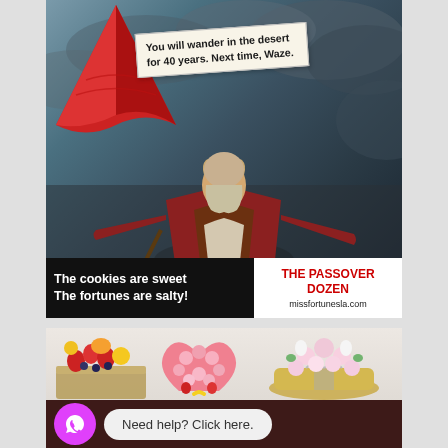[Figure (photo): Meme image showing a Moses-like bearded man in red robes holding up a red fortune cookie. A fortune slip reads 'You will wander in the desert for 40 years. Next time, Waze.' Text banner below reads 'The cookies are sweet / The fortunes are salty! / THE PASSOVER DOZEN / missfortunesla.com']
[Figure (photo): Three decorative gift boxes with flowers and fruits: left box has fruits and yellow roses, middle is heart-shaped with pink flowers, right is a round box with pink and white flowers and strawberries.]
Need help? Click here.